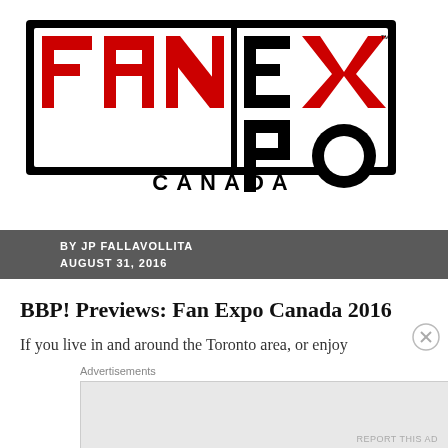[Figure (logo): Fan Expo Canada logo — bold black outlined rectangle with 'FAN' in red block letters, 'EXPO' in large black letters with red X and circular O, 'CANADA' in black below]
BY JP FALLAVOLLITA
AUGUST 31, 2016
BBP! Previews: Fan Expo Canada 2016
If you live in and around the Toronto area, or enjoy
Advertisements